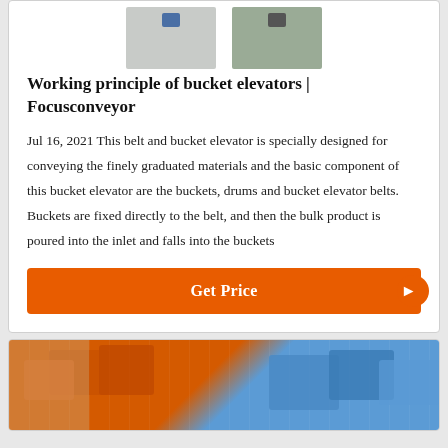[Figure (photo): Two industrial bucket elevator units shown side by side, gray/green colored equipment]
Working principle of bucket elevators | Focusconveyor
Jul 16, 2021 This belt and bucket elevator is specially designed for conveying the finely graduated materials and the basic component of this bucket elevator are the buckets, drums and bucket elevator belts. Buckets are fixed directly to the belt, and then the bulk product is poured into the inlet and falls into the buckets
[Figure (photo): Orange and blue industrial bucket elevator components/buckets photographed outdoors]